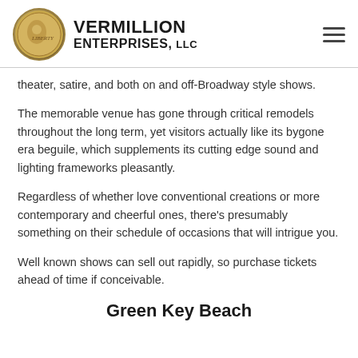VERMILLION ENTERPRISES, LLC
theater, satire, and both on and off-Broadway style shows.
The memorable venue has gone through critical remodels throughout the long term, yet visitors actually like its bygone era beguile, which supplements its cutting edge sound and lighting frameworks pleasantly.
Regardless of whether love conventional creations or more contemporary and cheerful ones, there's presumably something on their schedule of occasions that will intrigue you.
Well known shows can sell out rapidly, so purchase tickets ahead of time if conceivable.
Green Key Beach